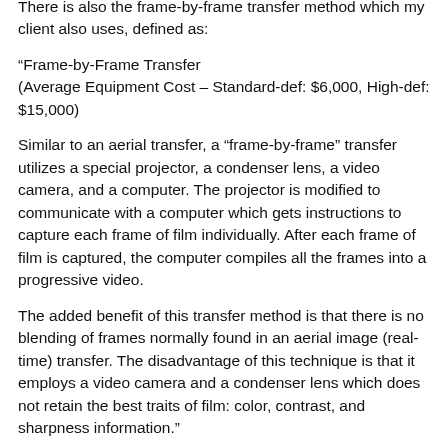There is also the frame-by-frame transfer method which my client also uses, defined as:
“Frame-by-Frame Transfer
(Average Equipment Cost – Standard-def: $6,000, High-def: $15,000)
Similar to an aerial transfer, a “frame-by-frame” transfer utilizes a special projector, a condenser lens, a video camera, and a computer. The projector is modified to communicate with a computer which gets instructions to capture each frame of film individually. After each frame of film is captured, the computer compiles all the frames into a progressive video.
The added benefit of this transfer method is that there is no blending of frames normally found in an aerial image (real-time) transfer. The disadvantage of this technique is that it employs a video camera and a condenser lens which does not retain the best traits of film: color, contrast, and sharpness information.”
There are higher end methods but the cost is prohibitive for a small company doing mostly consumer film transfer.